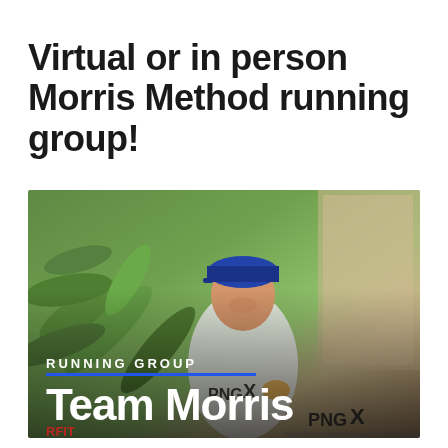Virtual or in person Morris Method running group!
[Figure (photo): Photo of a smiling man wearing a blue cap and a white PNGX (Papua New Guinea's National Stock Exchange) athletic jersey, standing outdoors with tropical green plants behind him. Overlaid text reads 'RUNNING GROUP' with a blue horizontal line beneath it, and 'Team Morris' in large bold white text at the bottom left. A PNGX logo and 'RFIT' text are visible on his jersey.]